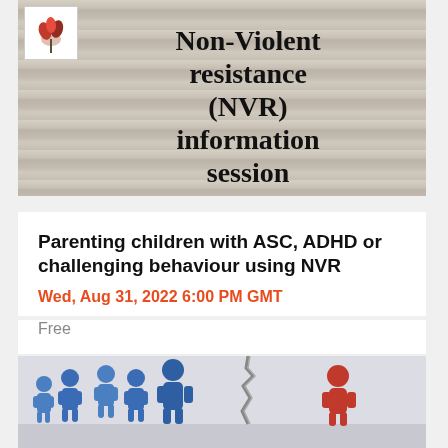[Figure (illustration): Whiteboard/wood plank background with bold text reading 'Non-Violent resistance (NVR) information session', with a floral logo in the top-left corner]
Parenting children with ASC, ADHD or challenging behaviour using NVR
Wed, Aug 31, 2022 6:00 PM GMT
Free
[Figure (illustration): 3D illustration of blue human figures on one side of a crack/fissure in the ground, with a red figure isolated on the other side — symbolizing social division or exclusion]